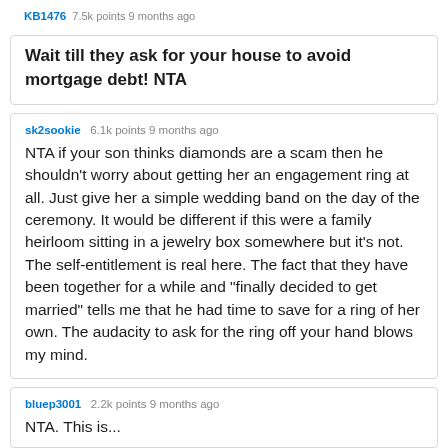KB1476 · 7.5k points 9 months ago
Wait till they ask for your house to avoid mortgage debt! NTA
sk2sookie · 6.1k points 9 months ago
NTA if your son thinks diamonds are a scam then he shouldn't worry about getting her an engagement ring at all. Just give her a simple wedding band on the day of the ceremony. It would be different if this were a family heirloom sitting in a jewelry box somewhere but it's not. The self-entitlement is real here. The fact that they have been together for a while and "finally decided to get married" tells me that he had time to save for a ring of her own. The audacity to ask for the ring off your hand blows my mind.
bluep3001 · 2.2k points 9 months ago
NTA. This is...